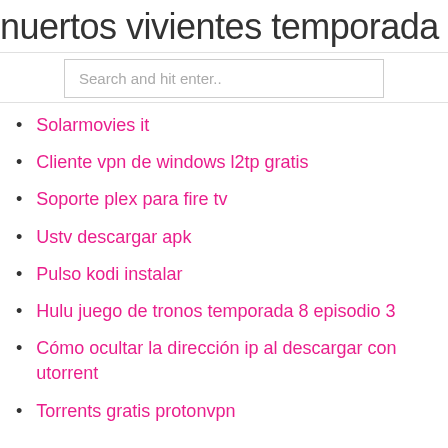nuertos vivientes temporada 1 episod
Search and hit enter..
Solarmovies it
Cliente vpn de windows l2tp gratis
Soporte plex para fire tv
Ustv descargar apk
Pulso kodi instalar
Hulu juego de tronos temporada 8 episodio 3
Cómo ocultar la dirección ip al descargar con utorrent
Torrents gratis protonvpn